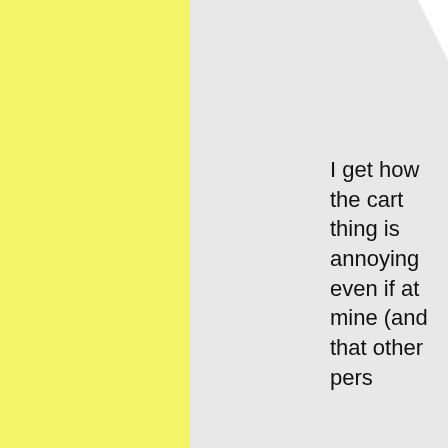I get how the cart thing is annoying even if at mine (and that other pers